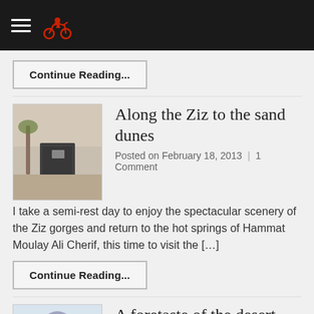Navigation header with hamburger menu and motorcycle logo
Continue Reading...
Along the Ziz to the sand dunes
Posted on February 18, 2013  | 1 Comment
I take a semi-rest day to enjoy the spectacular scenery of the Ziz gorges and return to the hot springs of Hammat Moulay Ali Cherif, this time to visit the [...]
Continue Reading...
[Figure (photo): Thumbnail image of desert scene with palm trees and container, sandy tones]
A foretaste of the desert
Posted on February 16, 2013  | 7 Comments
[Figure (photo): Thumbnail image of person wearing blue headscarf/turban in desert setting]